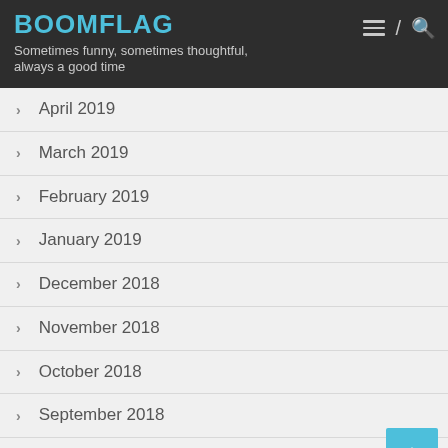BOOMFLAG
Sometimes funny, sometimes thoughtful, always a good time
April 2019
March 2019
February 2019
January 2019
December 2018
November 2018
October 2018
September 2018
August 2018
July 2018
June 2018